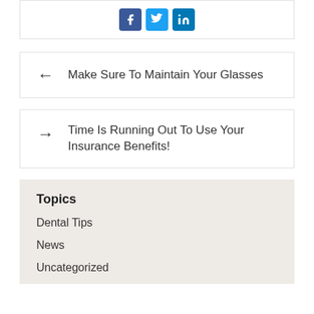[Figure (illustration): Social media share buttons: Facebook, Twitter, LinkedIn icons in colored boxes]
← Make Sure To Maintain Your Glasses
→ Time Is Running Out To Use Your Insurance Benefits!
Topics
Dental Tips
News
Uncategorized